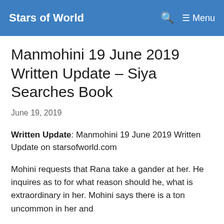Stars of World   🔍   ☰ Menu
Manmohini 19 June 2019 Written Update – Siya Searches Book
June 19, 2019
Written Update: Manmohini 19 June 2019 Written Update on starsofworld.com
Mohini requests that Rana take a gander at her. He inquires as to for what reason should he, what is extraordinary in her. Mohini says there is a ton uncommon in her and